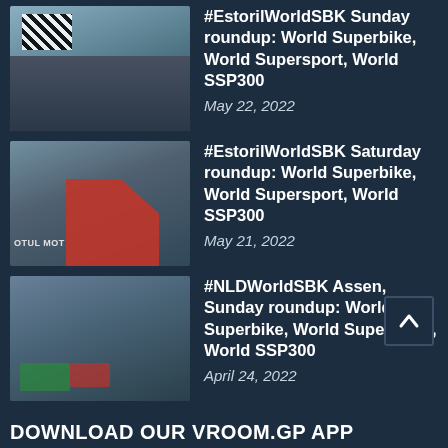[Figure (photo): Thumbnail photo of Estoril circuit with checkered flag, racetrack visible, grandstand in background]
#EstorilWorldSBK Sunday roundup: World Superbike, World Supersport, World SSP300
May 22, 2022
[Figure (photo): Thumbnail photo of a red motorcycle racing at Estoril, MOTUL branding visible]
#EstorilWorldSBK Saturday roundup: World Superbike, World Supersport, World SSP300
May 21, 2022
[Figure (photo): Thumbnail photo of motorcycles racing at Assen circuit with crash/corner scene]
#NLDWorldSBK Assen, Sunday roundup: World Superbike, World Supersport, World SSP300
April 24, 2022
DOWNLOAD OUR VROOM.GP APP
[Figure (logo): App Store download badge: phone icon, 'Available on the iPhone', 'App Store']